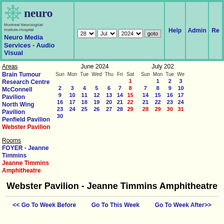Neuro Media Services - Audio Visual — Montreal Neurological Institute-Hospital
28 ▾  Jul ▾  2024 ▾  goto  Help  Admin  Re...
Areas
Brain Tumour Research Centre
McConnell Pavilion
North Wing Pavilion
Penfield Pavilion
Webster Pavilion
Rooms
FOYER - Jeanne Timmins
Jeanne Timmins Amphitheatre
[Figure (other): Mini calendar showing June 2024 and partial July 2024 with clickable date links]
Webster Pavilion - Jeanne Timmins Amphitheatre
<< Go To Week Before   Go To This Week   Go To Week After>>